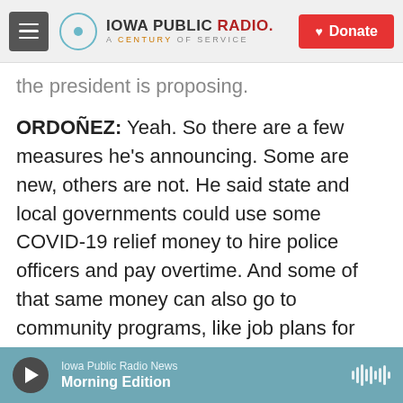Iowa Public Radio. A Century of Service. Donate.
the president is proposing.
ORDOÑEZ: Yeah. So there are a few measures he's announcing. Some are new, others are not. He said state and local governments could use some COVID-19 relief money to hire police officers and pay overtime. And some of that same money can also go to community programs, like job plans for teens and other programs that put vulnerable kids on a different track and away from violence. Another part of the plan involves cracking down on gun sellers. That's something Biden talked about today with Attorney General Merrick Garland. You
Iowa Public Radio News — Morning Edition